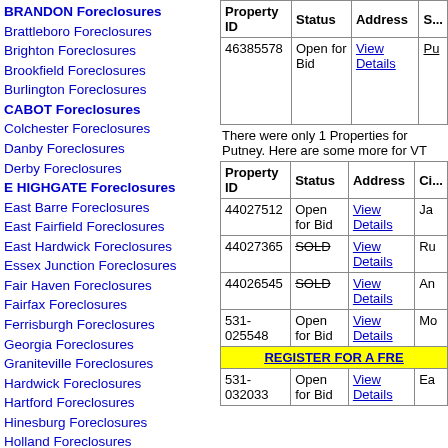BRANDON Foreclosures
Brattleboro Foreclosures
Brighton Foreclosures
Brookfield Foreclosures
Burlington Foreclosures
CABOT Foreclosures
Colchester Foreclosures
Danby Foreclosures
Derby Foreclosures
E HIGHGATE Foreclosures
East Barre Foreclosures
East Fairfield Foreclosures
East Hardwick Foreclosures
Essex Junction Foreclosures
Fair Haven Foreclosures
Fairfax Foreclosures
Ferrisburgh Foreclosures
Georgia Foreclosures
Graniteville Foreclosures
Hardwick Foreclosures
Hartford Foreclosures
Hinesburg Foreclosures
Holland Foreclosures
Huntington Foreclosures
Hyde Park Foreclosures
Jamaica Foreclosures
Jeffersonville Foreclosures
Killington Foreclosures
| Property ID | Status | Address | Ci... |
| --- | --- | --- | --- |
| 46385578 | Open for Bid | View Details | Pu... |
There were only 1 Properties for Putney. Here are some more for VT
| Property ID | Status | Address | Ci... |
| --- | --- | --- | --- |
| 44027512 | Open for Bid | View Details | Ja... |
| 44027365 | SOLD | View Details | Ru... |
| 44026545 | SOLD | View Details | An... |
| 531-025548 | Open for Bid | View Details | Mo... |
| 531-032033 | Open for Bid | View Details | Ea... |